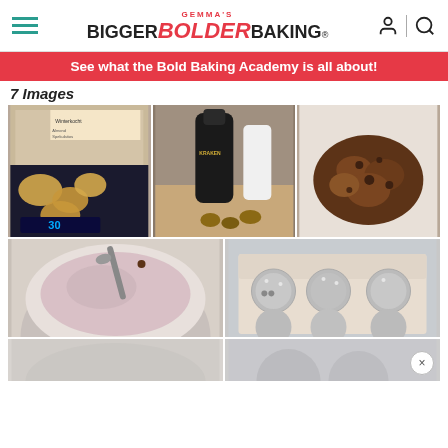Gemma's Bigger Bolder Baking
See what the Bold Baking Academy is all about!
7 Images
[Figure (photo): Grid of 5 baking-related photos: cookies on a kitchen scale showing 30g, a Kraken rum bottle with walnuts, a bowl of crumbly chocolate mixture, a bowl of pale batter with a spoon, and a box of chocolate-dusted round truffles/balls.]
[Figure (photo): Partially visible photos fading at bottom, with a close/X button overlay.]